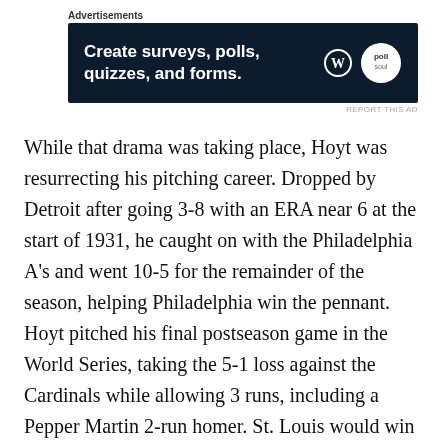[Figure (other): Advertisement banner: dark navy background with text 'Create surveys, polls, quizzes, and forms.' WordPress logo and poll logo on the right.]
While that drama was taking place, Hoyt was resurrecting his pitching career. Dropped by Detroit after going 3-8 with an ERA near 6 at the start of 1931, he caught on with the Philadelphia A's and went 10-5 for the remainder of the season, helping Philadelphia win the pennant. Hoyt pitched his final postseason game in the World Series, taking the 5-1 loss against the Cardinals while allowing 3 runs, including a Pepper Martin 2-run homer. St. Louis would win the World Series in seven games.